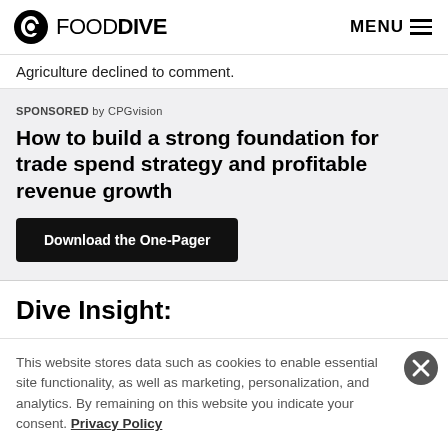FOOD DIVE | MENU
Agriculture declined to comment.
SPONSORED by CPGvision
How to build a strong foundation for trade spend strategy and profitable revenue growth
Download the One-Pager
Dive Insight:
This website stores data such as cookies to enable essential site functionality, as well as marketing, personalization, and analytics. By remaining on this website you indicate your consent. Privacy Policy